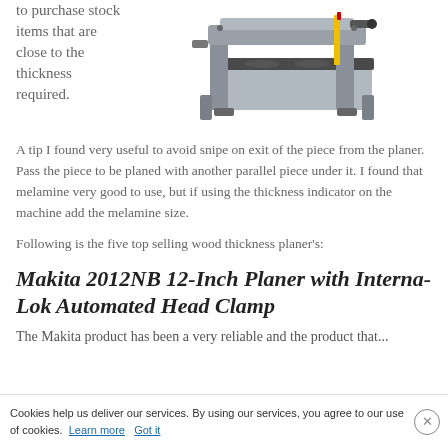to purchase stock items that are close to the thickness required.
[Figure (photo): A wood thickness planer machine, silver and black, shown from an angle above, with clamps and rollers visible.]
A tip I found very useful to avoid snipe on exit of the piece from the planer. Pass the piece to be planed with another parallel piece under it. I found that melamine very good to use, but if using the thickness indicator on the machine add the melamine size.
Following is the five top selling wood thickness planer's:
Makita 2012NB 12-Inch Planer with Interna-Lok Automated Head Clamp
The Makita product has been a very reliable and the product that...
Cookies help us deliver our services. By using our services, you agree to our use of cookies. Learn more Got it